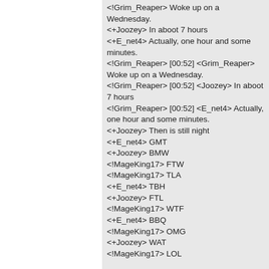<!Grim_Reaper> Woke up on a Wednesday.
<+Joozey> In aboot 7 hours
<+E_net4> Actually, one hour and some minutes.
<!Grim_Reaper> [00:52] <Grim_Reaper> Woke up on a Wednesday.
<!Grim_Reaper> [00:52] <Joozey> In aboot 7 hours
<!Grim_Reaper> [00:52] <E_net4> Actually, one hour and some minutes.
<+Joozey> Then is still night
<+E_net4> GMT
<+Joozey> BMW
<!MageKing17> FTW
<!MageKing17> TLA
<+E_net4> TBH
<+Joozey> FTL
<!MageKing17> WTF
<+E_net4> BBQ
<!MageKing17> OMG
<+Joozey> WAT
<!MageKing17> LOL